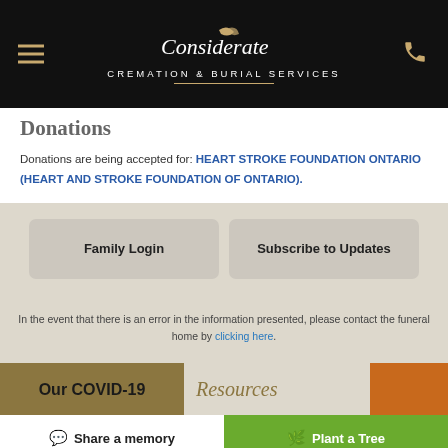Considerate Cremation & Burial Services
Donations
Donations are being accepted for: HEART STROKE FOUNDATION ONTARIO (HEART AND STROKE FOUNDATION OF ONTARIO).
Family Login
Subscribe to Updates
In the event that there is an error in the information presented, please contact the funeral home by clicking here.
Our COVID-19
Resources
Share a memory   Plant a Tree